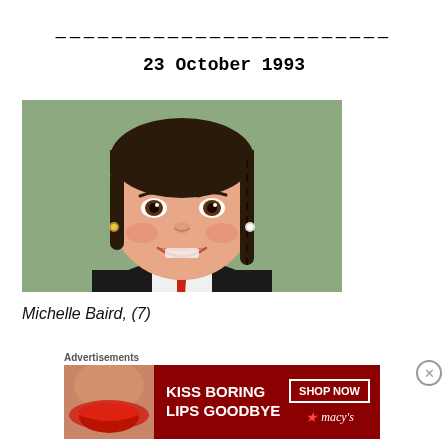________________________
23 October 1993
[Figure (photo): School photo of a young girl, approximately 7 years old, smiling at the camera. She has dark braided hair, is wearing small earrings, and a dark school uniform with a red tie. The background is a muted green/teal colour.]
Michelle Baird, (7)
Advertisements
[Figure (photo): Advertisement banner for Macy's cosmetics reading 'KISS BORING LIPS GOODBYE' with a woman's face featuring red lips, a 'SHOP NOW' button, and the Macy's logo with a star.]